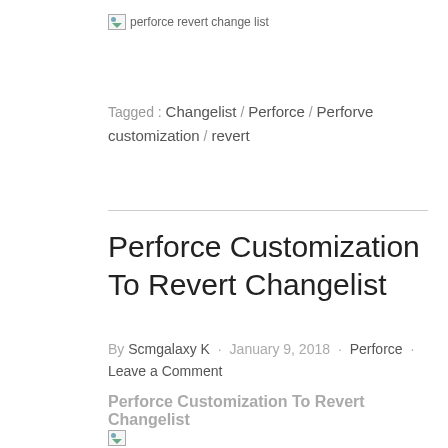[Figure (other): Broken/placeholder image with alt text 'perforce revert change list']
Tagged : Changelist / Perforce / Perforve customization / revert
Perforce Customization To Revert Changelist
By Scmgalaxy K · January 9, 2018 · Perforce · Leave a Comment
Perforce Customization To Revert Changelist
[Figure (other): Broken/placeholder image at bottom of page]